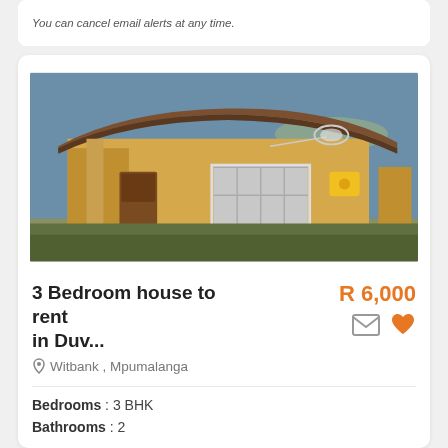You can cancel email alerts at any time.
[Figure (photo): Exterior photo of a single-storey yellow painted house with tiled roof, wooden door, barred window, satellite dish, and small yellow sign on the wall.]
3 Bedroom house to rent in Duv...
R 6,000
Witbank , Mpumalanga
Bedrooms : 3 BHK
Bathrooms : 2